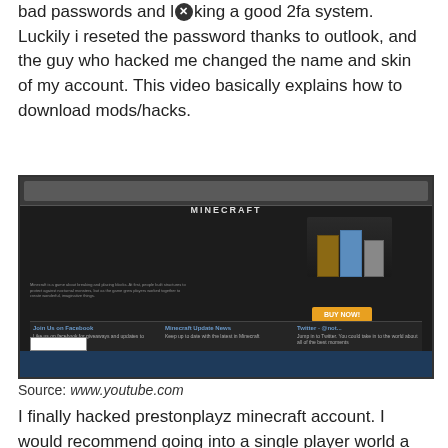bad passwords and l⛔king a good 2fa system. Luckily i reseted the password thanks to outlook, and the guy who hacked me changed the name and skin of my account. This video basically explains how to download mods/hacks.
[Figure (screenshot): Screenshot of the Minecraft website homepage showing the Minecraft logo, character skins, a buy now button, and social media links at the bottom.]
Source: www.youtube.com
I finally hacked prestonplayz minecraft account. I would recommend going into a single player world a⛔d typing something